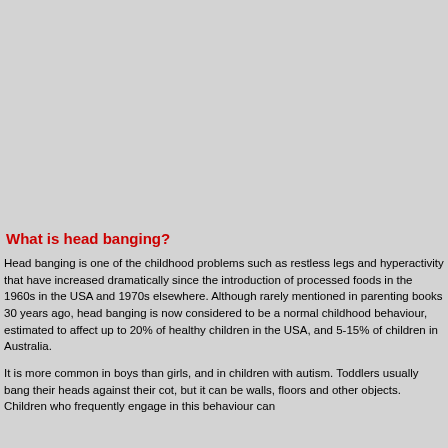[Figure (other): Large grey/blank image area occupying the top portion of the page]
What is head banging?
Head banging is one of the childhood problems such as restless legs and hyperactivity that have increased dramatically since the introduction of processed foods in the 1960s in the USA and 1970s elsewhere. Although rarely mentioned in parenting books 30 years ago, head banging is now considered to be a normal childhood behaviour, estimated to affect up to 20% of healthy children in the USA, and 5-15% of children in Australia.
It is more common in boys than girls, and in children with autism. Toddlers usually bang their heads against their cot, but it can be walls, floors and other objects. Children who frequently engage in this behaviour can